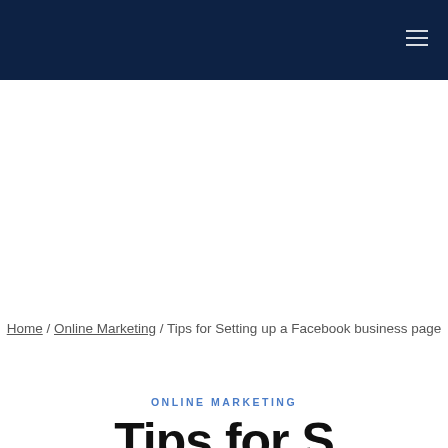Navigation header bar with hamburger menu
Home / Online Marketing / Tips for Setting up a Facebook business page
ONLINE MARKETING
Tips for S...